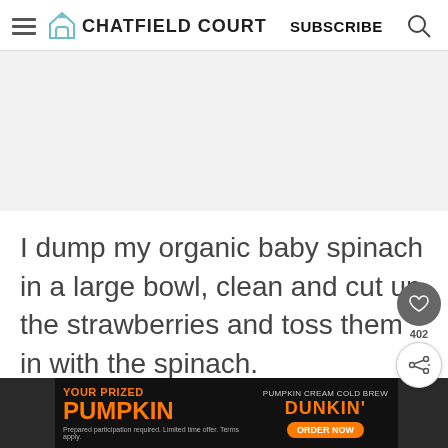CHATFIELD COURT | SUBSCRIBE
[Figure (other): Gray advertisement placeholder area]
I dump my organic baby spinach in a large bowl, clean and cut up the strawberries and toss them in with the spinach.
[Figure (other): Dunkin' Pumpkin Cream Cold Brew advertisement banner at bottom]